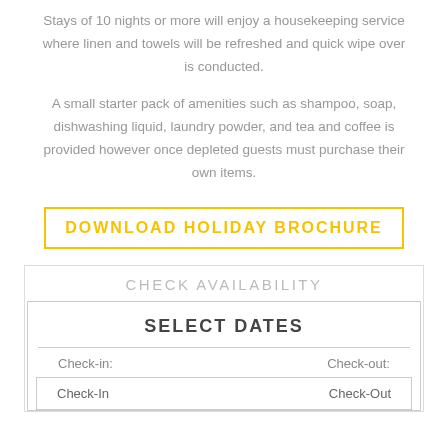Stays of 10 nights or more will enjoy a housekeeping service where linen and towels will be refreshed and quick wipe over is conducted.
A small starter pack of amenities such as shampoo, soap, dishwashing liquid, laundry powder, and tea and coffee is provided however once depleted guests must purchase their own items.
DOWNLOAD HOLIDAY BROCHURE
CHECK AVAILABILITY
SELECT DATES
Check-in:	Check-out:
Check-In	Check-Out